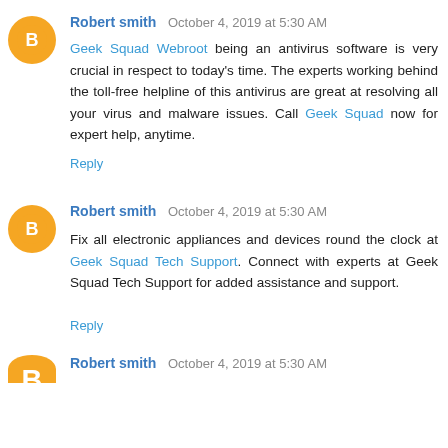Robert smith  October 4, 2019 at 5:30 AM
Geek Squad Webroot being an antivirus software is very crucial in respect to today's time. The experts working behind the toll-free helpline of this antivirus are great at resolving all your virus and malware issues. Call Geek Squad now for expert help, anytime.
Reply
Robert smith  October 4, 2019 at 5:30 AM
Fix all electronic appliances and devices round the clock at Geek Squad Tech Support. Connect with experts at Geek Squad Tech Support for added assistance and support.
Reply
Robert smith  October 4, 2019 at 5:30 AM